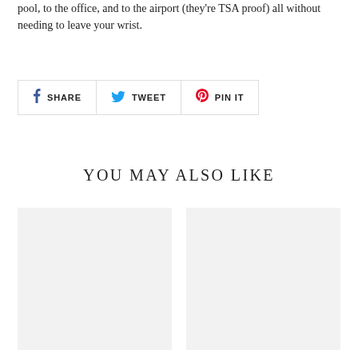pool, to the office, and to the airport (they're TSA proof) all without needing to leave your wrist.
[Figure (other): Social sharing buttons row: SHARE (Facebook), TWEET (Twitter), PIN IT (Pinterest)]
YOU MAY ALSO LIKE
[Figure (photo): Product image placeholder (light gray rectangle, left)]
[Figure (photo): Product image placeholder (light gray rectangle, right)]